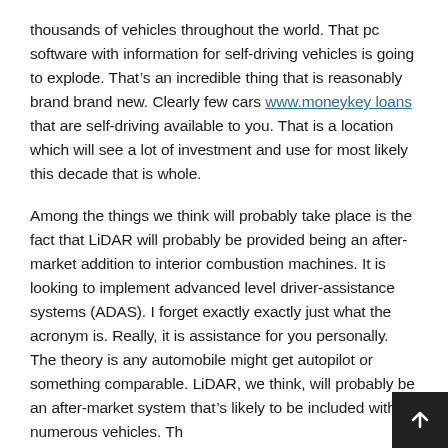thousands of vehicles throughout the world. That pc software with information for self-driving vehicles is going to explode. That’s an incredible thing that is reasonably brand brand new. Clearly few cars www.moneykey loans that are self-driving available to you. That is a location which will see a lot of investment and use for most likely this decade that is whole.
Among the things we think will probably take place is the fact that LiDAR will probably be provided being an after-market addition to interior combustion machines. It is looking to implement advanced level driver-assistance systems (ADAS). I forget exactly exactly just what the acronym is. Really, it is assistance for you personally. The theory is any automobile might get autopilot or something comparable. LiDAR, we think, will probably be an after-market system that’s likely to be included with numerous vehicles. Th…